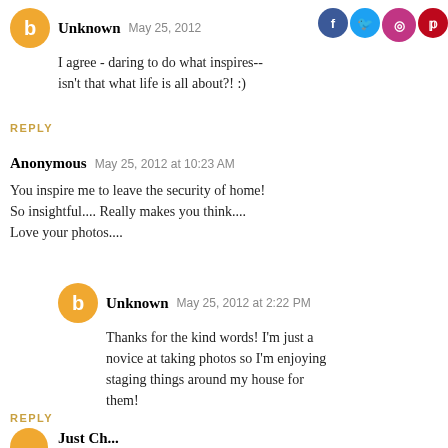Unknown  May 25, 2012
I agree - daring to do what inspires-- isn't that what life is all about?! :)
REPLY
Anonymous  May 25, 2012 at 10:23 AM
You inspire me to leave the security of home! So insightful.... Really makes you think.... Love your photos....
Unknown  May 25, 2012 at 2:22 PM
Thanks for the kind words! I'm just a novice at taking photos so I'm enjoying staging things around my house for them!
REPLY
Just Ch...